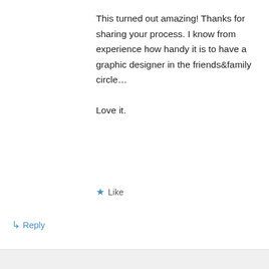This turned out amazing! Thanks for sharing your process. I know from experience how handy it is to have a graphic designer in the friends&family circle…

Love it.
★ Like
↳ Reply
sewfrench on May 22, 2012 at 3:51 pm
Advertisements
[Figure (screenshot): DuckDuckGo advertisement banner: orange background with text 'Search, browse, and email with more privacy. All in One Free App' and a phone graphic with DuckDuckGo logo]